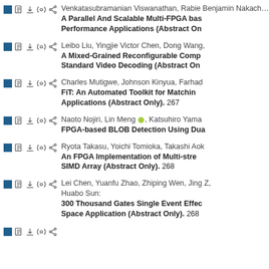Venkatasubramanian Viswanathan, Rabie Benjamin Nakache, Maurice Nakache: A Parallel And Scalable Multi-FPGA based Performance Applications (Abstract Only).
Leibo Liu, Yingjie Victor Chen, Dong Wang: A Mixed-Grained Reconfigurable Computing Architecture for Standard Video Decoding (Abstract Only).
Charles Mutigwe, Johnson Kinyua, Farhad: FiT: An Automated Toolkit for Matching Applications (Abstract Only). 267
Naoto Nojiri, Lin Meng, Katsuhiro Yamaz: FPGA-based BLOB Detection Using Dua
Ryota Takasu, Yoichi Tomioka, Takashi Aok: An FPGA Implementation of Multi-stream SIMD Array (Abstract Only). 268
Lei Chen, Yuanfu Zhao, Zhiping Wen, Jing Z, Huabo Sun: 300 Thousand Gates Single Event Effect Space Application (Abstract Only). 268